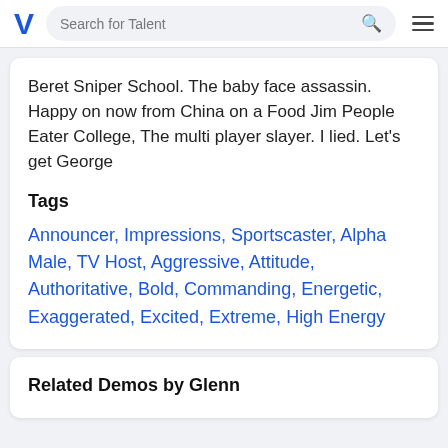Search for Talent
Beret Sniper School. The baby face assassin. Happy on now from China on a Food Jim People Eater College, The multi player slayer. I lied. Let's get George
Tags
Announcer, Impressions, Sportscaster, Alpha Male, TV Host, Aggressive, Attitude, Authoritative, Bold, Commanding, Energetic, Exaggerated, Excited, Extreme, High Energy
Related Demos by Glenn